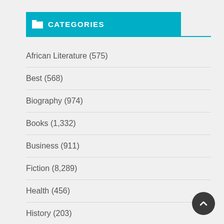CATEGORIES
African Literature (575)
Best (568)
Biography (974)
Books (1,332)
Business (911)
Fiction (8,289)
Health (456)
History (203)
Latest (851)
Mystery (441)
Novels (1,450)